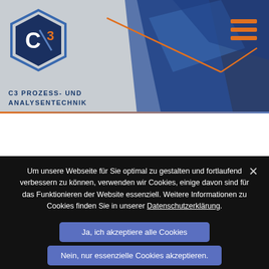[Figure (logo): C3 Prozess- und Analysentechnik logo with hexagon shape and geometric blue shapes in header background]
C3 PROZESS- UND ANALYSENTECHNIK
Um unsere Webseite für Sie optimal zu gestalten und fortlaufend verbessern zu können, verwenden wir Cookies, einige davon sind für das Funktionieren der Website essenziell. Weitere Informationen zu Cookies finden Sie in unserer Datenschutzerklärung.
Ja, ich akzeptiere alle Cookies
Nein, nur essenzielle Cookies akzeptieren.